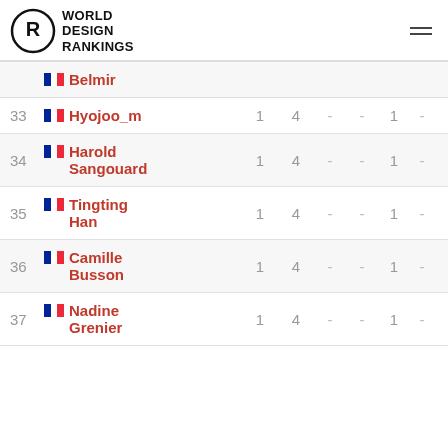World Design Rankings
| Rank | Designer | Gold | Total | - | - | Silver | - |
| --- | --- | --- | --- | --- | --- | --- | --- |
|  | Belmir |  |  |  |  |  |  |
| 33 | Hyojoo_m | 1 | 4 | - | - | 1 | - |
| 34 | Harold Sangouard | 1 | 4 | - | - | 1 | - |
| 35 | Tingting Han | 1 | 4 | - | - | 1 | - |
| 36 | Camille Busson | 1 | 4 | - | - | 1 | - |
| 37 | Nadine Grenier | 1 | 4 | - | - | 1 | - |